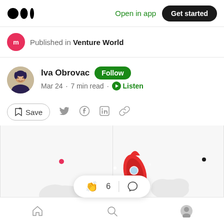Medium logo | Open in app | Get started
Published in Venture World
Iva Obrovac  Follow
Mar 24 · 7 min read · Listen
Save  (Twitter) (Facebook) (LinkedIn) (Link)
[Figure (illustration): Red rocket ship launching through clouds illustration with claps reaction bar showing 6 claps and a comment icon]
Home | Search | Profile